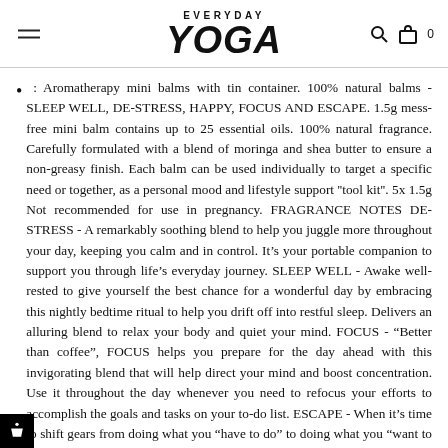EVERYDAY YOGA
: Aromatherapy mini balms with tin container. 100% natural balms - SLEEP WELL, DE-STRESS, HAPPY, FOCUS AND ESCAPE. 1.5g mess-free mini balm contains up to 25 essential oils. 100% natural fragrance. Carefully formulated with a blend of moringa and shea butter to ensure a non-greasy finish. Each balm can be used individually to target a specific need or together, as a personal mood and lifestyle support ''tool kit''. 5x 1.5g Not recommended for use in pregnancy. FRAGRANCE NOTES DE-STRESS - A remarkably soothing blend to help you juggle more throughout your day, keeping you calm and in control. It’s your portable companion to support you through life’s everyday journey. SLEEP WELL - Awake well-rested to give yourself the best chance for a wonderful day by embracing this nightly bedtime ritual to help you drift off into restful sleep. Delivers an alluring blend to relax your body and quiet your mind. FOCUS - “Better than coffee”, FOCUS helps you prepare for the day ahead with this invigorating blend that will help direct your mind and boost concentration. Use it throughout the day whenever you need to refocus your efforts to accomplish the goals and tasks on your to-do list. ESCAPE - When it’s time to shift gears from doing what you “have to do” to doing what you “want to do”, the grounding ESCAPE blend